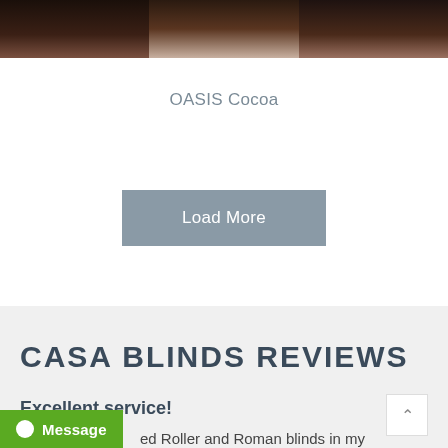[Figure (photo): Top portion of a product image showing dark brown/cocoa colored roller and roman blinds]
OASIS Cocoa
Load More
CASA BLINDS REVIEWS
Excellent service!
ed Roller and Roman blinds in my
Message